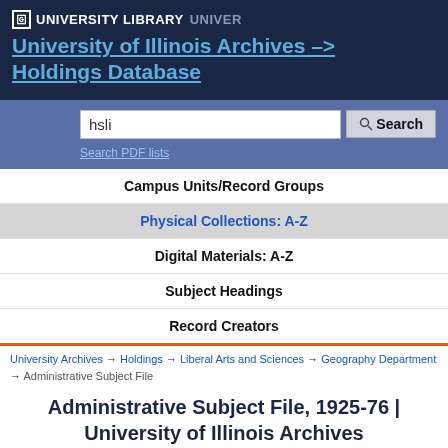UNIVERSITY LIBRARY  UNIVER
University of Illinois Archives --> Holdings Database
hsli [search input]
Search PDF lists
Campus Units/Record Groups
Physical Collections: A-Z
Digital Materials: A-Z
Subject Headings
Record Creators
University Archives → Holdings → Liberal Arts and Sciences → Geography Department → Administrative Subject File
Administrative Subject File, 1925-76 | University of Illinois Archives